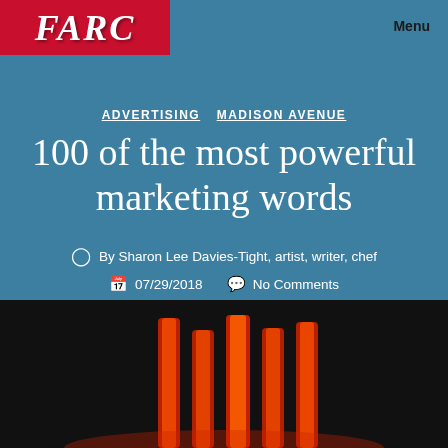[Figure (logo): FARE logo in red/white text on red background]
Menu
ADVERTISING  MADISON AVENUE
100 of the most powerful marketing words
By Sharon Lee Davies-Tight, artist, writer, chef
07/29/2018   No Comments
[Figure (photo): Dark stage with glowing red vertical light columns]